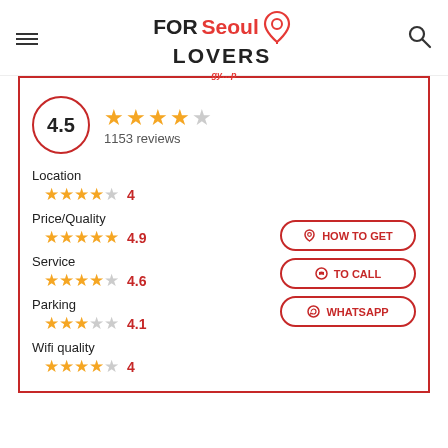[Figure (logo): FORSeoul LOVERS logo with location pin icon]
4.5
1153 reviews
Location
4
Price/Quality
4.9
Service
4.6
Parking
4.1
Wifi quality
4
HOW TO GET
TO CALL
WHATSAPP